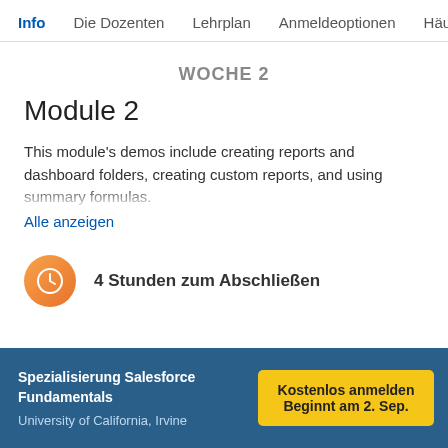Info  Die Dozenten  Lehrplan  Anmeldeoptionen  Häuf
WOCHE 2
Module 2
This module's demos include creating reports and dashboard folders, creating custom reports, and using summary formulas. At home, you will focus on creating reports based on data
Alle anzeigen
4 Stunden zum Abschließen
Spezialisierung Salesforce Fundamentals
University of California, Irvine
Kostenlos anmelden
Beginnt am 2. Sep.